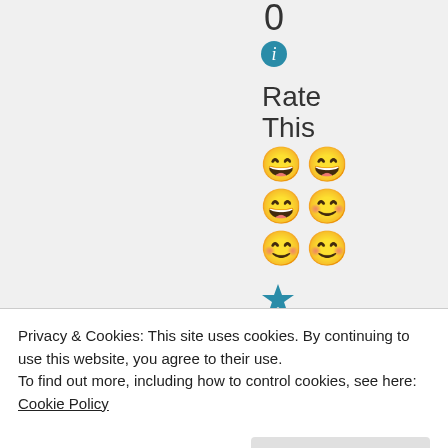0
[Figure (illustration): Teal info icon (circle with lowercase i)]
Rate
This
[Figure (illustration): Six smiley/laughing emoji faces arranged in a 2x3 grid]
[Figure (illustration): Blue star icon]
Liked by 1 person
Privacy & Cookies: This site uses cookies. By continuing to use this website, you agree to their use.
To find out more, including how to control cookies, see here: Cookie Policy
Close and accept
Americaoncoffee on 23/08/2021 at 02:43